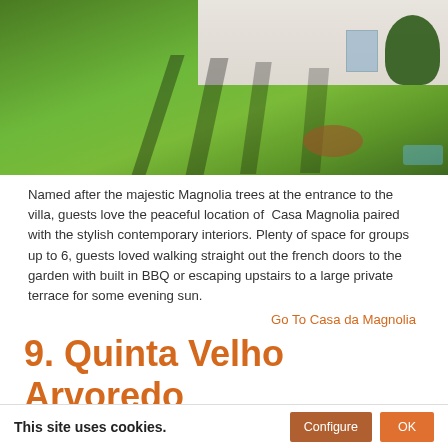[Figure (photo): Aerial view of a large green lawn with long diagonal shadows, a white villa house visible in the top right corner, with a terracotta circular path and shrubs.]
Named after the majestic Magnolia trees at the entrance to the villa, guests love the peaceful location of  Casa Magnolia paired with the stylish contemporary interiors. Plenty of space for groups up to 6, guests loved walking straight out the french doors to the garden with built in BBQ or escaping upstairs to a large private terrace for some evening sun.
Go To Casa da Magnolia
9. Quinta Velho Arvoredo
Peaceful seclusion surrounded by stunning
This site uses cookies.